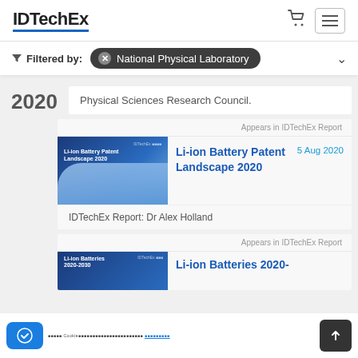IDTechEx
Filtered by: National Physical Laboratory
Physical Sciences Research Council.
2020
Appears in IDTechEx Report
[Figure (photo): Cover image of Li-ion Battery Patent Landscape 2020 report]
Li-ion Battery Patent Landscape 2020    5 Aug 2020
IDTechEx Report: Dr Alex Holland
Appears in IDTechEx Report
[Figure (photo): Cover image of Li-ion Batteries 2020- report]
Li-ion Batteries 2020-
Cookie notice text